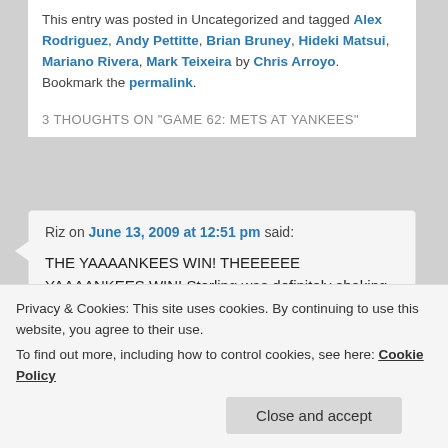This entry was posted in Uncategorized and tagged Alex Rodriguez, Andy Pettitte, Brian Bruney, Hideki Matsui, Mariano Rivera, Mark Teixeira by Chris Arroyo. Bookmark the permalink.
3 THOUGHTS ON "GAME 62: METS AT YANKEES"
Riz on June 13, 2009 at 12:51 pm said: THE YAAAANKEES WIN! THEEEEEE YAAAANKEES WIN! Sterling was definitely shaking last night as the Yankees won in dramatic fashion. As the paper said this morning You can’t spell Mets without the E and I am keeping about
Privacy & Cookies: This site uses cookies. By continuing to use this website, you agree to their use.
To find out more, including how to control cookies, see here: Cookie Policy
Close and accept